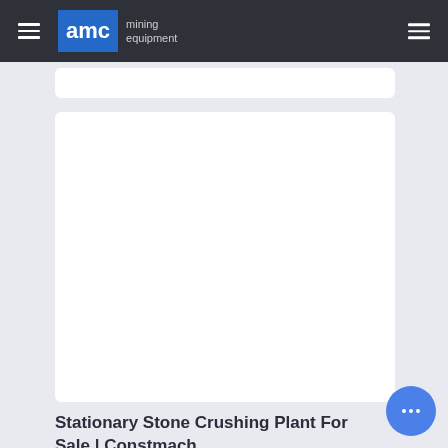AMC mining equipment
[Figure (other): Partial white card visible at top, cut off]
[Figure (photo): Large white content card area (image content not visible)]
Stationary Stone Crushing Plant For Sale | Constmach